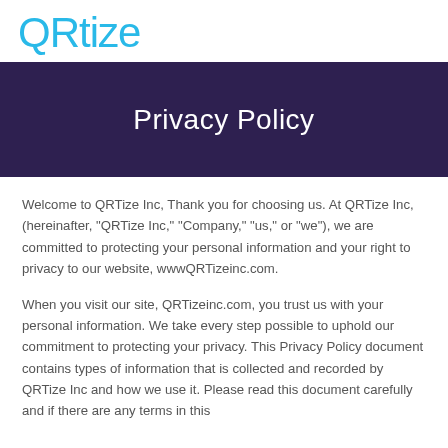QRtize
Privacy Policy
Welcome to QRTize Inc, Thank you for choosing us. At QRTize Inc, (hereinafter, "QRTize Inc," "Company," "us," or "we"), we are committed to protecting your personal information and your right to privacy to our website, wwwQRTizeinc.com.
When you visit our site, QRTizeinc.com, you trust us with your personal information. We take every step possible to uphold our commitment to protecting your privacy. This Privacy Policy document contains types of information that is collected and recorded by QRTize Inc and how we use it. Please read this document carefully and if there are any terms in this